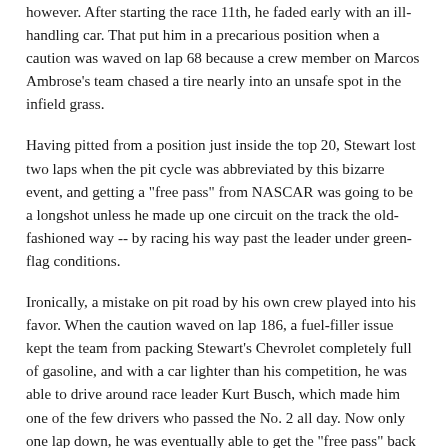however. After starting the race 11th, he faded early with an ill-handling car. That put him in a precarious position when a caution was waved on lap 68 because a crew member on Marcos Ambrose's team chased a tire nearly into an unsafe spot in the infield grass.
Having pitted from a position just inside the top 20, Stewart lost two laps when the pit cycle was abbreviated by this bizarre event, and getting a "free pass" from NASCAR was going to be a longshot unless he made up one circuit on the track the old-fashioned way -- by racing his way past the leader under green-flag conditions.
Ironically, a mistake on pit road by his own crew played into his favor. When the caution waved on lap 186, a fuel-filler issue kept the team from packing Stewart's Chevrolet completely full of gasoline, and with a car lighter than his competition, he was able to drive around race leader Kurt Busch, which made him one of the few drivers who passed the No. 2 all day. Now only one lap down, he was eventually able to get the "free pass" back onto the lead lap.